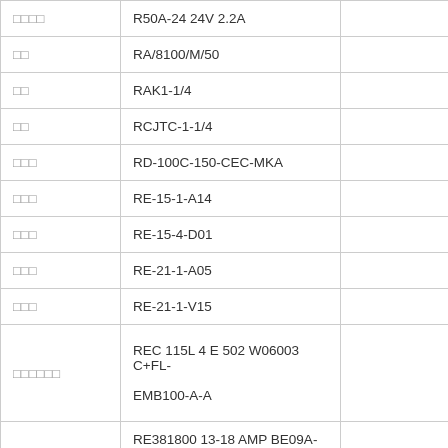|  |  |  |
| --- | --- | --- |
| □□□□ | R50A-24 24V 2.2A |  |
| □□ | RA/8100/M/50 |  |
| □□ | RAK1-1/4 |  |
| □□ | RCJTC-1-1/4 |  |
| □□□ | RD-100C-150-CEC-MKA |  |
| □□□ | RE-15-1-A14 |  |
| □□□ | RE-15-4-D01 |  |
| □□□ | RE-21-1-A05 |  |
| □□□ | RE-21-1-V15 |  |
| □□□□□□ | REC 115L 4 E 502 W06003 C+FL-EMB100-A-A |  |
|  | RE381800 13-18 AMP BE09A- |  |